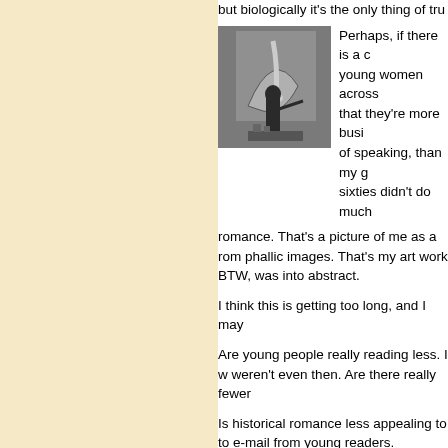but biologically it's the only thing of tru...
[Figure (photo): Black and white photo of a person painting a large abstract mural with phallic imagery]
Perhaps, if there is a c... young women across... that they're more busi... of speaking, than my g... sixties didn't do much... romance. That's a picture of me as a rom... phallic images. That's my art work BTW,... was into abstract.
I think this is getting too long, and I may...
Are young people really reading less. I w... weren't even then. Are there really fewer...
Is historical romance less appealing to to... e-mail from young readers.
Is it perhaps because the protagonists, e... romance are often older? I still write quit... was 16. Claire in Lord of Midnight, 18. Ja... Mara in To Rescue A Rogue is 19. Thea,...
Apart from a couple of older women you... a heroine older than 24 and most of my h...